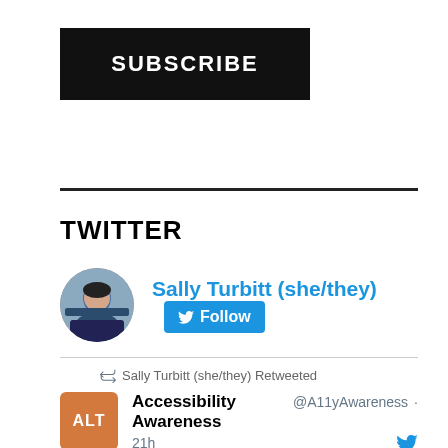[Figure (other): SUBSCRIBE button — black rectangle with white bold uppercase text]
TWITTER
[Figure (other): Twitter profile widget for Sally Turbitt (she/they) with circular profile photo and blue Follow button]
Sally Turbitt (she/they) Retweeted
Accessibility Awareness @A11yAwareness · 21h
When creating PDFs, avoid using "Print to PDF." A screen reader user may still be able to access the text of PDFs created this way, but heading